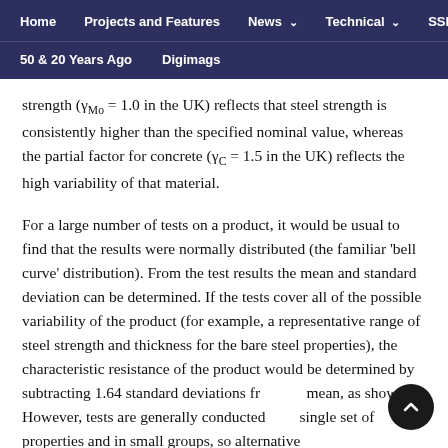Home   Projects and Features   News   Technical   SSDA   50 & 20 Years Ago   Digimags
strength (γMo = 1.0 in the UK) reflects that steel strength is consistently higher than the specified nominal value, whereas the partial factor for concrete (γC = 1.5 in the UK) reflects the high variability of that material.
For a large number of tests on a product, it would be usual to find that the results were normally distributed (the familiar 'bell curve' distribution). From the test results the mean and standard deviation can be determined. If the tests cover all of the possible variability of the product (for example, a representative range of steel strength and thickness for the bare steel properties), the characteristic resistance of the product would be determined by subtracting 1.64 standard deviations from the mean, as shown. However, tests are generally conducted on a single set of properties and in small groups, so alternative